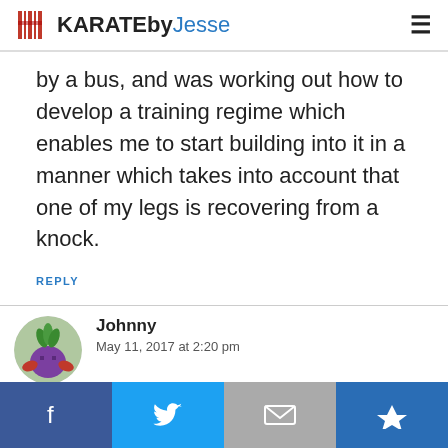KARATEbyJesse
by a bus, and was working out how to develop a training regime which enables me to start building into it in a manner which takes into account that one of my legs is recovering from a knock.
REPLY
Johnny
May 11, 2017 at 2:20 pm